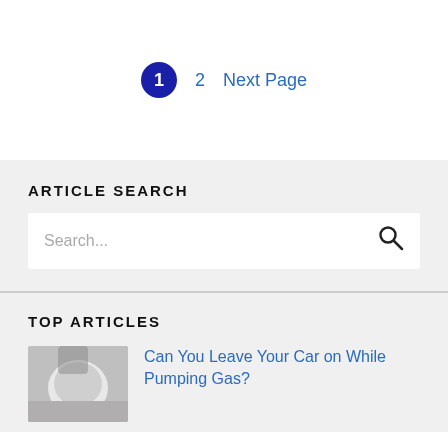1  2  Next Page
ARTICLE SEARCH
Search...
TOP ARTICLES
[Figure (photo): Thumbnail photo of a hand near a car gas cap/pump]
Can You Leave Your Car on While Pumping Gas?